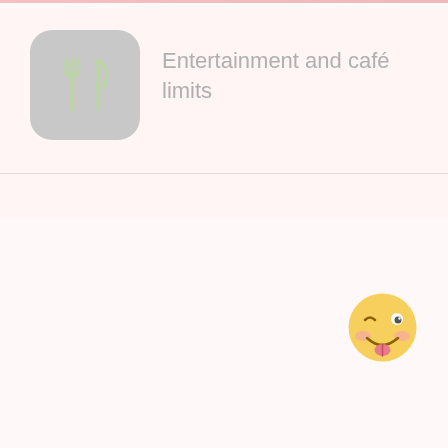[Figure (illustration): App icon with fork and knife utensils symbol on a rounded square gray background]
Entertainment and café limits
[Figure (illustration): Winking face with tongue emoji]